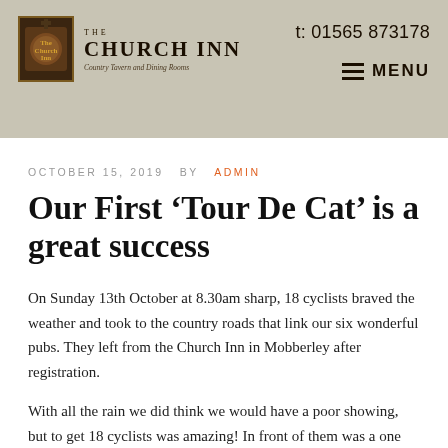THE CHURCH INN — Country Tavern and Dining Rooms | t: 01565 873178 | MENU
OCTOBER 15, 2019  BY  ADMIN
Our First ‘Tour De Cat’ is a great success
On Sunday 13th October at 8.30am sharp, 18 cyclists braved the weather and took to the country roads that link our six wonderful pubs. They left from the Church Inn in Mobberley after registration.
With all the rain we did think we would have a poor showing, but to get 18 cyclists was amazing! In front of them was a one hundred mile challenge, taking them in to Staffordshire, to our